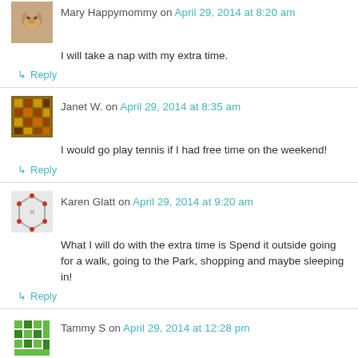Mary Happymommy on April 29, 2014 at 8:20 am
I will take a nap with my extra time.
↳ Reply
Janet W. on April 29, 2014 at 8:35 am
I would go play tennis if I had free time on the weekend!
↳ Reply
Karen Glatt on April 29, 2014 at 9:20 am
What I will do with the extra time is Spend it outside going for a walk, going to the Park, shopping and maybe sleeping in!
↳ Reply
Tammy S on April 29, 2014 at 12:28 pm
I would lay out on my deck and read a book.
↳ Reply